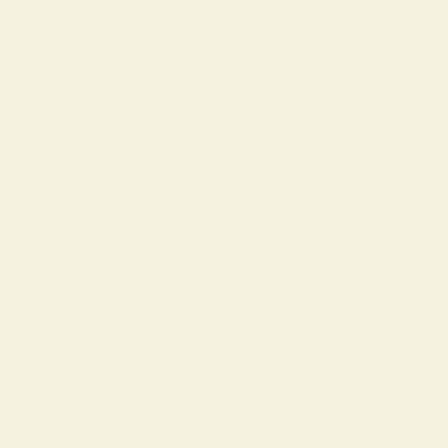For that old man of p
And well could file h
He told of Saintes an
He strowd an Aue-M
The drouping Night t
And the sad humour
As messenger of Mo
Sweet slo[m]bring de
Vnto their lodgings t
Where when all drow
He to his study goes,
His Magick bookes a
He seekes out mighty
Then choosing out fe
(Let none them read)
With which and othe
He bad awake blacke
And cursed heauen, a
Of highest God, the h
A bold bad man, that
Great Gorgon, Prince
At which Cocytus qu
And forth he cald ou
Legions of Sprights: